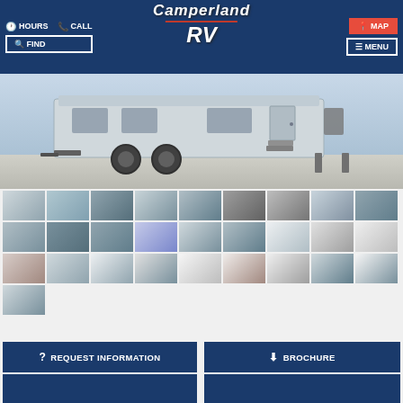HOURS  CALL  Camperland RV  FIND  MENU  MAP
[Figure (photo): Main large photo of a silver/aluminum RV trailer exterior, side view showing wheels, steps, door, and hitch]
[Figure (photo): Grid of 28 thumbnail photos showing various exterior and interior views of the RV]
REQUEST INFORMATION
BROCHURE